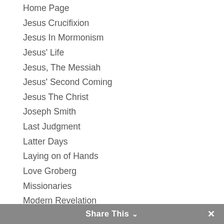Home Page
Jesus Crucifixion
Jesus In Mormonism
Jesus' Life
Jesus, The Messiah
Jesus' Second Coming
Jesus The Christ
Joseph Smith
Last Judgment
Latter Days
Laying on of Hands
Love Groberg
Missionaries
Modern Revelation
Moral Cleanliness
Mormon Bishops
Mormon Callings
Mormon Marriage
Mormon Priesthood
Share This